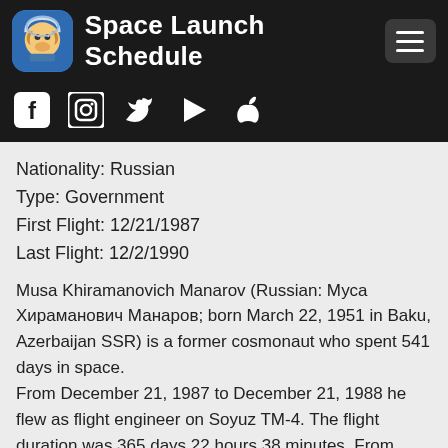Space Launch Schedule
[Figure (logo): Space Launch Schedule app logo with monkey astronaut icon and social media icons (Facebook, Instagram, Twitter, Play Store, Apple)]
Nationality: Russian
Type: Government
First Flight: 12/21/1987
Last Flight: 12/2/1990
Musa Khiramanovich Manarov (Russian: Муса Хираманович Манаров; born March 22, 1951 in Baku, Azerbaijan SSR) is a former cosmonaut who spent 541 days in space.
From December 21, 1987 to December 21, 1988 he flew as flight engineer on Soyuz TM-4. The flight duration was 365 days 22 hours 38 minutes. From December 2,